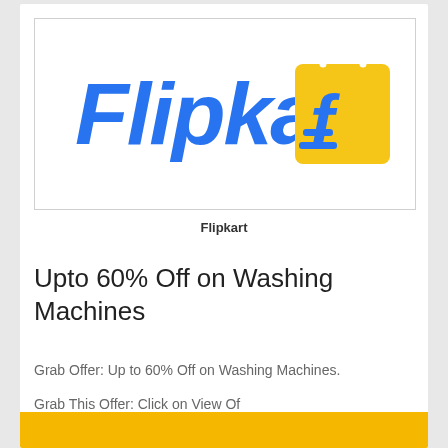[Figure (logo): Flipkart logo: blue italic 'Flipkart' text with yellow shopping bag icon containing a blue stylized 'f']
Flipkart
Upto 60% Off on Washing Machines
Grab Offer: Up to 60% Off on Washing Machines.
Grab This Offer: Click on View Of